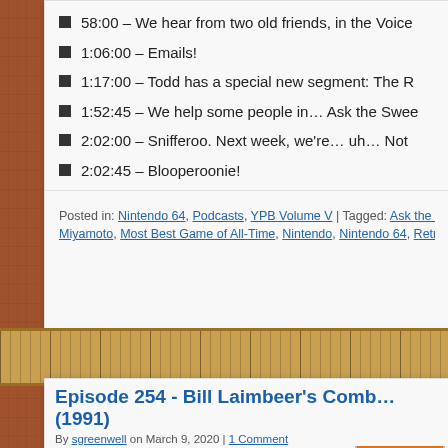58:00 – We hear from two old friends, in the Voice…
1:06:00 – Emails!
1:17:00 – Todd has a special new segment: The R…
1:52:45 – We help some people in… Ask the Swee…
2:02:00 – Snifferoo. Next week, we're… uh… Not …
2:02:45 – Blooperoonie!
Posted in: Nintendo 64, Podcasts, YPB Volume V | Tagged: Ask the Sweet B… Miyamoto, Most Best Game of All-Time, Nintendo, Nintendo 64, Retrospekt,…
Episode 254 - Bill Laimbeer's Comb… (1991)
By sgreenwell on March 9, 2020 | 1 Comment
This week in the PENULTIMATE episode of Your Parents Basement, we tackling the hellllllll out of robots. From 1991, we are…
[Figure (photo): Game cover image for Bill Laimbeer's Combat Basketball, orange background with stylized text]